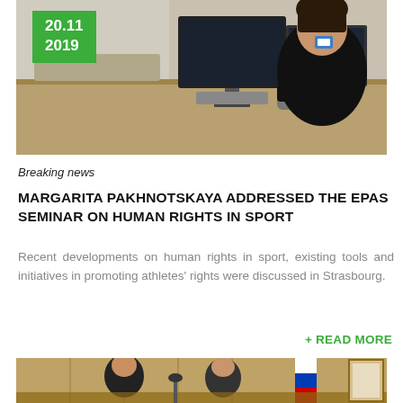[Figure (photo): Person in black top working at a computer monitor at a conference table, date badge 20.11 2019 in green top left corner]
Breaking news
MARGARITA PAKHNOTSKAYA ADDRESSED THE EPAS SEMINAR ON HUMAN RIGHTS IN SPORT
Recent developments on human rights in sport, existing tools and initiatives in promoting athletes' rights were discussed in Strasbourg.
+ READ MORE
[Figure (photo): Two people seated at a conference table with a Russian flag in the background and framed certificates on the wall]